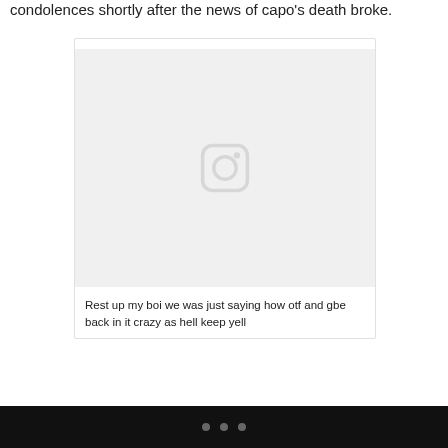condolences shortly after the news of capo's death broke.
[Figure (screenshot): An embedded social media post card with a placeholder Instagram image icon in a light gray image area, followed by partial text below reading 'Rest up my boi we was just saying how otf and gbe back in it crazy as hell keep yell']
Rest up my boi we was just saying how otf and gbe back in it crazy as hell keep yell